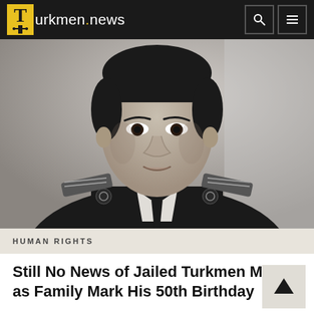Turkmen.news
[Figure (photo): Black and white portrait photo of a young man in a military uniform with epaulettes and a tie, looking directly at the camera.]
HUMAN RIGHTS
Still No News of Jailed Turkmen Major as Family Mark His 50th Birthday